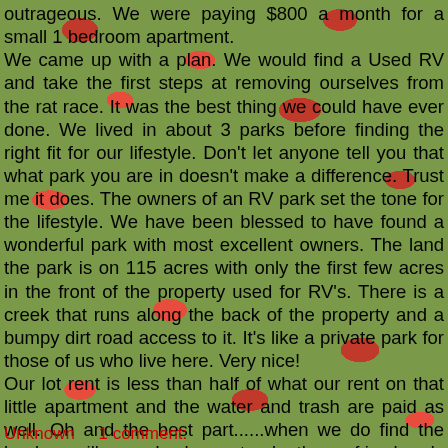outrageous. We were paying $800 a month for a small 1 bedroom apartment. We came up with a plan. We would find a Used RV and take the first steps at removing ourselves from the rat race. It was the best thing we could have ever done. We lived in about 3 parks before finding the right fit for our lifestyle. Don't let anyone tell you that what park you are in doesn't make a difference. Trust me it does. The owners of an RV park set the tone for the lifestyle. We have been blessed to have found a wonderful park with most excellent owners. The land the park is on 115 acres with only the first few acres in the front of the property used for RV's. There is a creek that runs along the back of the property and a bumpy dirt road access to it. It's like a private park for those of us who live here. Very nice! Our lot rent is less than half of what our rent on that little apartment and the water and trash are paid as well. Oh and the best part......when we do find the land we will someday homestead....the roof is already over our heads!!! We have a ways to go but we are going to get there one day.
Unknown    1 comment: